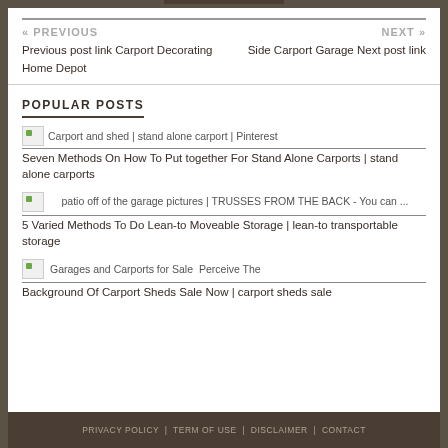« PREVIOUS
Previous post link Carport Decorating Home Depot
NEXT »
Side Carport Garage Next post link
POPULAR POSTS
[Figure (illustration): Small image placeholder for Carport and shed | stand alone carport | Pinterest]
Seven Methods On How To Put together For Stand Alone Carports | stand alone carports
[Figure (illustration): Small image placeholder for patio off of the garage pictures | TRUSSES FROM THE BACK - You can ...]
5 Varied Methods To Do Lean-to Moveable Storage | lean-to transportable storage
[Figure (illustration): Small image placeholder for Garages and Carports for Sale - Perceive The Background Of Carport Sheds Sale Now]
Perceive The Background Of Carport Sheds Sale Now | carport sheds sale
PRIVACY POLICY | TERM OF USE | DISCLAIMER | CONTACT